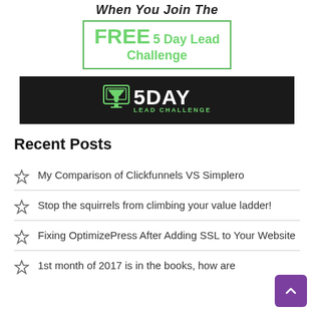When You Join The
FREE 5 Day Lead Challenge
[Figure (logo): 5 Day Lead Challenge logo — funnel icon with '5DAY' text and 'LEAD CHALLENGE' subtitle on a black background]
Recent Posts
My Comparison of Clickfunnels VS Simplero
Stop the squirrels from climbing your value ladder!
Fixing OptimizePress After Adding SSL to Your Website
1st month of 2017 is in the books, how are